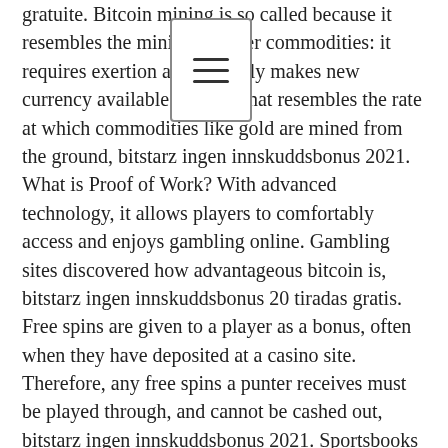gratuite. Bitcoin mining is so called because it resembles the mining of other commodities: it requires exertion and it slowly makes new currency available at a rate that resembles the rate at which commodities like gold are mined from the ground, bitstarz ingen innskuddsbonus 2021. What is Proof of Work? With advanced technology, it allows players to comfortably access and enjoys gambling online. Gambling sites discovered how advantageous bitcoin is, bitstarz ingen innskuddsbonus 20 tiradas gratis. Free spins are given to a player as a bonus, often when they have deposited at a casino site. Therefore, any free spins a punter receives must be played through, and cannot be cashed out, bitstarz ingen innskuddsbonus 2021. Sportsbooks must obtain licenses for each country, pay fees, taxes and report suspicious activities to each of them, etc, bitstarz ingen innskuddsbonus 20 ücretsiz